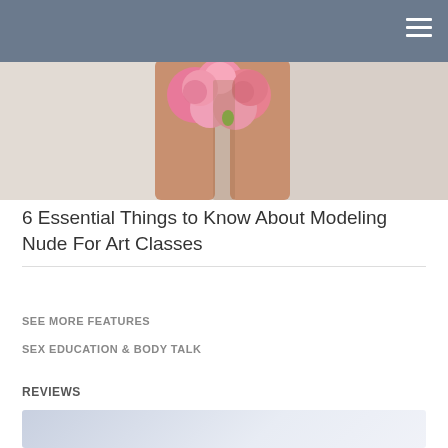[Figure (photo): Photo of a person's legs with pink peony flowers held in front, soft light background. Navigation bar with hamburger menu overlaid at top.]
6 Essential Things to Know About Modeling Nude For Art Classes
SEE MORE FEATURES
SEX EDUCATION & BODY TALK
REVIEWS
[Figure (other): Light blue/lavender gradient card at bottom of page]